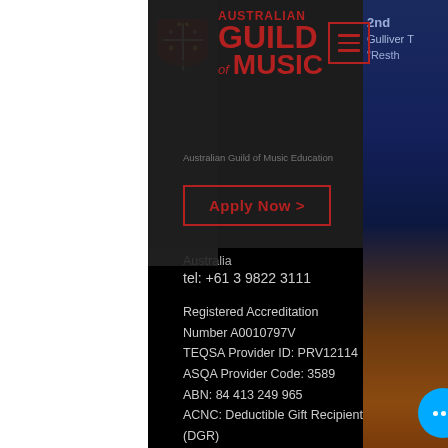[Figure (logo): Australian Guild of Music crest/shield logo in red]
AUSTRALIAN GUILD of MUSIC
[Figure (other): Hamburger menu icon in red border box]
Australian Guild of Music Education
Apply Now >
Australia
tel: +61 3 9822 3111
Registered Accreditation Number A0010797V
TEQSA Provider ID: PRV12114
ASQA Provider Code: 3589
ABN: 84 413 249 965
ACNC: Deductible Gift Recipient (DGR)
[Figure (other): Social media icons row: Instagram, Facebook, LinkedIn, YouTube]
2nd
Gulliver T
"Resth